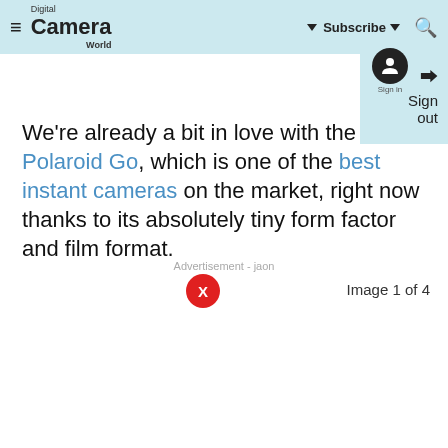Digital Camera World — Subscribe | Sign out
We're already a bit in love with the Polaroid Go, which is one of the best instant cameras on the market, right now thanks to its absolutely tiny form factor and film format.
Advertisement - jaon
Image 1 of 4